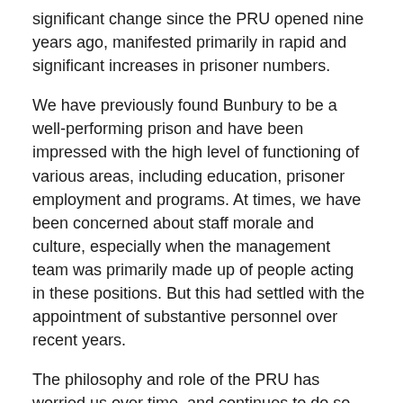significant change since the PRU opened nine years ago, manifested primarily in rapid and significant increases in prisoner numbers.
We have previously found Bunbury to be a well-performing prison and have been impressed with the high level of functioning of various areas, including education, prisoner employment and programs. At times, we have been concerned about staff morale and culture, especially when the management team was primarily made up of people acting in these positions. But this had settled with the appointment of substantive personnel over recent years.
The philosophy and role of the PRU has worried us over time, and continues to do so. The PRU has been crowded for most of its life, and this impacts on its potential to provide a truly reintegrative environment for prisoners. Shortly before our inspection in September 2017, the government announced that Unit 5 at Bunbury would re-open, thereby further increasing the prisoner population there.